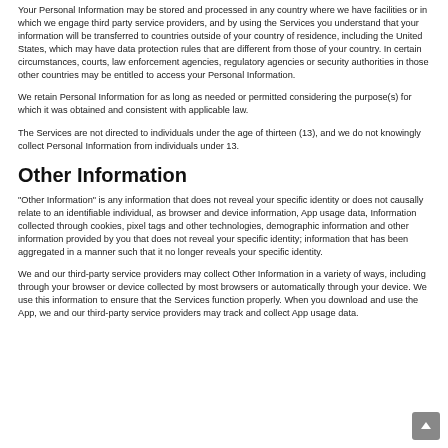Your Personal Information may be stored and processed in any country where we have facilities or in which we engage third party service providers, and by using the Services you understand that your information will be transferred to countries outside of your country of residence, including the United States, which may have data protection rules that are different from those of your country. In certain circumstances, courts, law enforcement agencies, regulatory agencies or security authorities in those other countries may be entitled to access your Personal Information.
We retain Personal Information for as long as needed or permitted considering the purpose(s) for which it was obtained and consistent with applicable law.
The Services are not directed to individuals under the age of thirteen (13), and we do not knowingly collect Personal Information from individuals under 13.
Other Information
"Other Information" is any information that does not reveal your specific identity or does not causally relate to an identifiable individual, as browser and device information, App usage data, Information collected through cookies, pixel tags and other technologies, demographic information and other information provided by you that does not reveal your specific identity; information that has been aggregated in a manner such that it no longer reveals your specific identity.
We and our third-party service providers may collect Other Information in a variety of ways, including through your browser or device collected by most browsers or automatically through your device. We use this information to ensure that the Services function properly. When you download and use the App, we and our third-party service providers may track and collect App usage data.